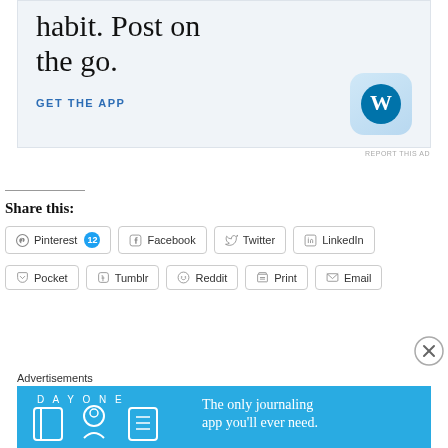[Figure (screenshot): WordPress mobile app advertisement: 'habit. Post on the go.' with GET THE APP link and WordPress logo icon]
REPORT THIS AD
Share this:
Pinterest 12 | Facebook | Twitter | LinkedIn | Pocket | Tumblr | Reddit | Print | Email
Advertisements
[Figure (screenshot): Day One journaling app advertisement: 'The only journaling app you'll ever need.']